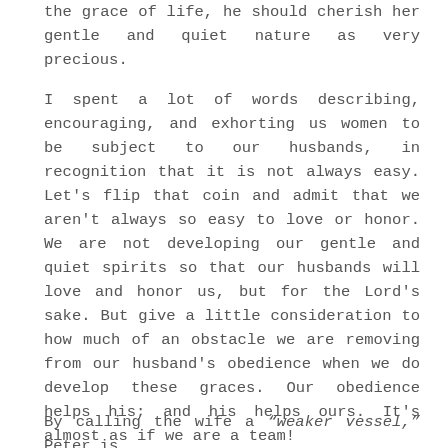the grace of life, he should cherish her gentle and quiet nature as very precious.
I spent a lot of words describing, encouraging, and exhorting us women to be subject to our husbands, in recognition that it is not always easy. Let's flip that coin and admit that we aren't always so easy to love or honor. We are not developing our gentle and quiet spirits so that our husbands will love and honor us, but for the Lord's sake. But give a little consideration to how much of an obstacle we are removing from our husband's obedience when we do develop these graces. Our obedience helps his; and his helps ours. It's almost as if we are a team!
By calling the wife a “weaker vessel,” Peter is